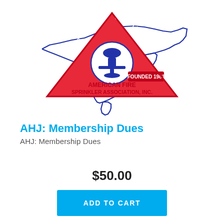[Figure (logo): Carolinas Chapter American Fire Sprinkler Association, Inc. logo — red triangle with a fire sprinkler head inside, overlaid on a blue outline map of North and South Carolina. Text around triangle reads 'CAROLINAS CHAPTER' and 'FOUNDED 1981'. Below triangle: 'AMERICAN FIRE SPRINKLER ASSOCIATION, INC.']
AHJ: Membership Dues
AHJ: Membership Dues
$50.00
ADD TO CART